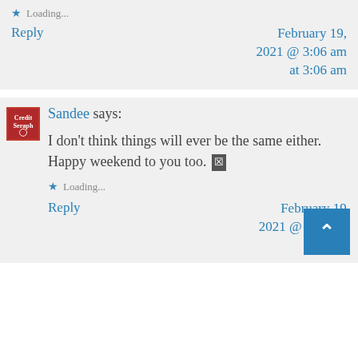Loading...
Reply | February 19, 2021 @ 3:06 am at 3:06 am
[Figure (photo): Avatar image for commenter Sandee - small thumbnail with a cat or dog graphic]
Sandee says:
I don't think things will ever be the same either. Happy weekend to you too. [emoji]
Loading...
Reply | February 19, 2021 @ 1:17 pm at 1:17